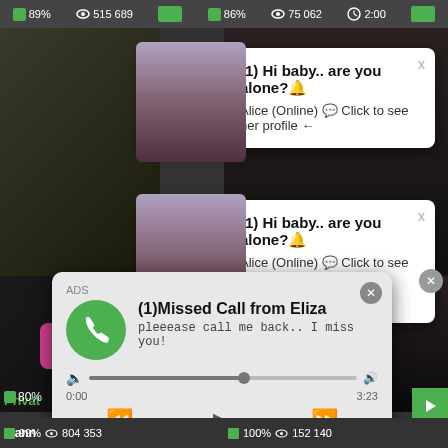89% | 515 689 | 86% | 75 062 | 2:00
[Figure (screenshot): Chat notification popup: (1) Hi baby.. are you alone? Alice (Online) Click to see her profile]
[Figure (screenshot): Second chat notification popup: (1) Hi baby.. are you alone? Alice (Online) Click to see her profile, with ADS label and Angel is typing... (1) unread message pink banner]
[Figure (screenshot): Missed call popup from Eliza with audio player controls showing 0:00 and 3:23]
99% | 804 353 | 100% | 152 140